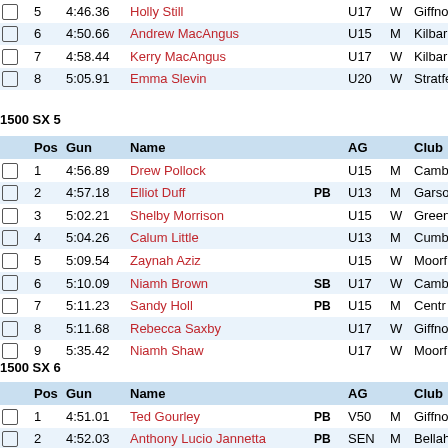|  | Pos | Gun | Name |  | AG |  | Club |
| --- | --- | --- | --- | --- | --- | --- | --- |
|  | 5 | 4:46.36 | Holly Still |  | U17 | W | Giffno |
|  | 6 | 4:50.66 | Andrew MacAngus |  | U15 | M | Kilbar |
|  | 7 | 4:58.44 | Kerry MacAngus |  | U17 | W | Kilbar |
|  | 8 | 5:05.91 | Emma Slevin |  | U20 | W | Stratfe |
1500 SX 5
|  | Pos | Gun | Name |  | AG |  | Club |
| --- | --- | --- | --- | --- | --- | --- | --- |
|  | 1 | 4:56.89 | Drew Pollock |  | U15 | M | Camb |
|  | 2 | 4:57.18 | Elliot Duff | PB | U13 | M | Garso |
|  | 3 | 5:02.21 | Shelby Morrison |  | U15 | W | Green |
|  | 4 | 5:04.26 | Calum Little |  | U13 | M | Cumb |
|  | 5 | 5:09.54 | Zaynah Aziz |  | U15 | W | Moorf |
|  | 6 | 5:10.09 | Niamh Brown | SB | U17 | W | Camb |
|  | 7 | 5:11.23 | Sandy Holl | PB | U15 | M | Centr |
|  | 8 | 5:11.68 | Rebecca Saxby |  | U17 | W | Giffno |
|  | 9 | 5:35.42 | Niamh Shaw |  | U17 | W | Moorf |
1500 SX 6
|  | Pos | Gun | Name |  | AG |  | Club |
| --- | --- | --- | --- | --- | --- | --- | --- |
|  | 1 | 4:51.01 | Ted Gourley | PB | V50 | M | Giffno |
|  | 2 | 4:52.03 | Anthony Lucio Jannetta | PB | SEN | M | Bellah |
|  | 3 | 4:58.70 | Phoebe Crosthwaite |  | U20 | W | Edinb |